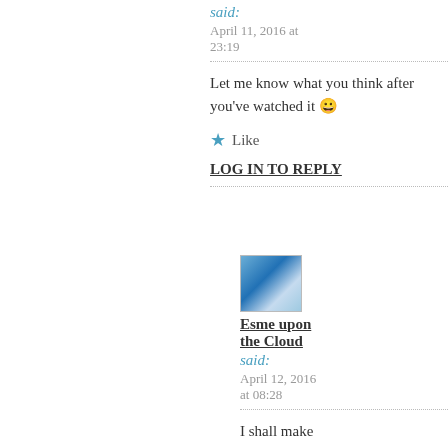said:
April 11, 2016 at 23:19
Let me know what you think after you've watched it 🙂
★ Like
LOG IN TO REPLY
[Figure (photo): Avatar photo of Esme upon the Cloud - blue water/waves image]
Esme upon the Cloud said:
April 12, 2016 at 08:28
I shall make it so.
esme on her